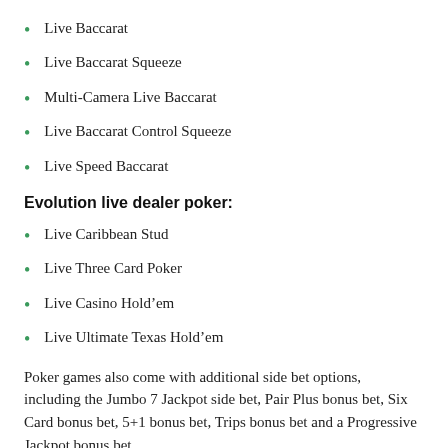Live Baccarat
Live Baccarat Squeeze
Multi-Camera Live Baccarat
Live Baccarat Control Squeeze
Live Speed Baccarat
Evolution live dealer poker:
Live Caribbean Stud
Live Three Card Poker
Live Casino Hold’em
Live Ultimate Texas Hold’em
Poker games also come with additional side bet options, including the Jumbo 7 Jackpot side bet, Pair Plus bonus bet, Six Card bonus bet, 5+1 bonus bet, Trips bonus bet and a Progressive Jackpot bonus bet.